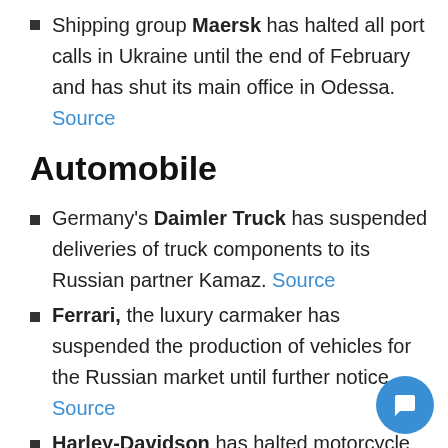Shipping group Maersk has halted all port calls in Ukraine until the end of February and has shut its main office in Odessa. Source
Automobile
Germany's Daimler Truck has suspended deliveries of truck components to its Russian partner Kamaz. Source
Ferrari, the luxury carmaker has suspended the production of vehicles for the Russian market until further notice. Source
Harley-Davidson has halted motorcycle shipments to Russia, saying its thoughts "continue for the safety of the